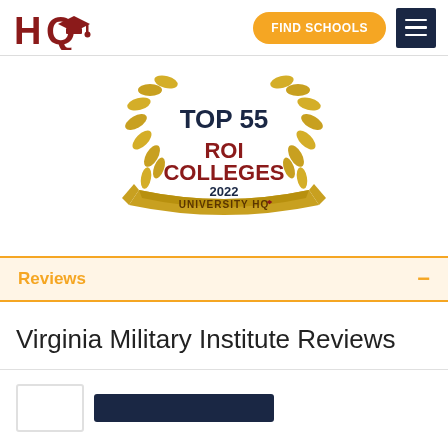HQ | FIND SCHOOLS
[Figure (logo): Award badge: TOP 55 ROI COLLEGES 2022 UNIVERSITY HQ with gold laurel wreath and ribbon]
Reviews
Virginia Military Institute Reviews